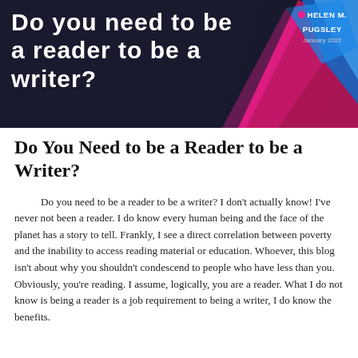[Figure (illustration): Dark navy banner with white bold text 'Do you need to be a reader to be a writer?' on left, geometric polygon shapes in magenta/pink and blue on the right, and author name 'HELEN M. PUGSLEY' with pink dot and date 'January 2022' in top right corner.]
Do You Need to be a Reader to be a Writer?
Do you need to be a reader to be a writer? I don’t actually know! I’ve never not been a reader. I do know every human being and the face of the planet has a story to tell. Frankly, I see a direct correlation between poverty and the inability to access reading material or education. Whoever, this blog isn’t about why you shouldn’t condescend to people who have less than you. Obviously, you’re reading. I assume, logically, you are a reader. What I do not know is being a reader is a job requirement to being a writer, I do know the benefits.